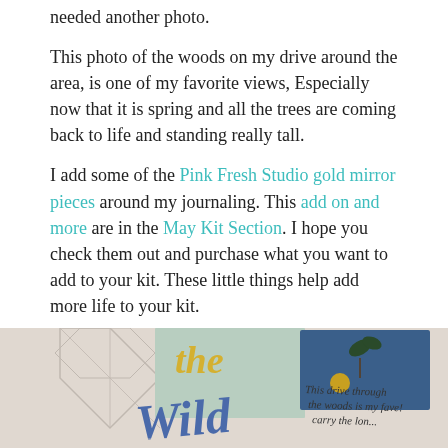needed another photo.
This photo of the woods on my drive around the area, is one of my favorite views, Especially now that it is spring and all the trees are coming back to life and standing really tall.
I add some of the Pink Fresh Studio gold mirror pieces around my journaling. This add on and more are in the May Kit Section. I hope you check them out and purchase what you want to add to your kit. These little things help add more life to your kit.
[Figure (photo): A scrapbook layout photo showing decorative elements including the word 'Wild' in blue script, 'the' in gold lettering, geometric shapes, a blue card with a leaf/floral decoration, a gold embellishment, and handwritten journaling text reading 'This drive through the woods is my fave' with additional text partially visible.]